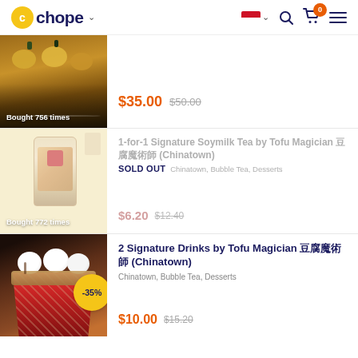Chope
[Figure (photo): Food item photo with overlay text 'Bought 756 times', price $35.00 (was $50.00)]
$35.00  $50.00
[Figure (photo): 1-for-1 Signature Soymilk Tea by Tofu Magician product photo. SOLD OUT. Bought 772 times. $6.20 was $12.40]
1-for-1 Signature Soymilk Tea by Tofu Magician 豆腐魔術師 (Chinatown)
SOLD OUT
Chinatown, Bubble Tea, Desserts
$6.20  $12.40
[Figure (photo): 2 Signature Drinks by Tofu Magician product photo with -35% badge]
2 Signature Drinks by Tofu Magician 豆腐魔術師 (Chinatown)
Chinatown, Bubble Tea, Desserts
$10.00  $15.20